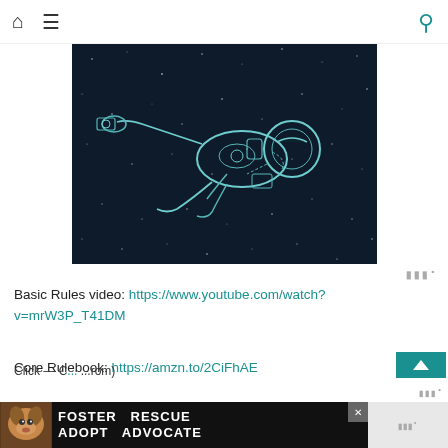Home | Menu | Search
[Figure (illustration): Dark space background with a line-art astronaut floating horizontally, drawn in teal/white outline style on a dark navy starfield]
Basic Rules video: https://www.youtube.com/watch?v=mrW3P_T41DM
Core Rulebook: https://amzn.to/2CiFhAE
[Figure (photo): Advertisement banner showing a beagle dog with text FOSTER ADOPT ADVOCATE in white on dark background, with a close button]
Click ... — C... ...rom)